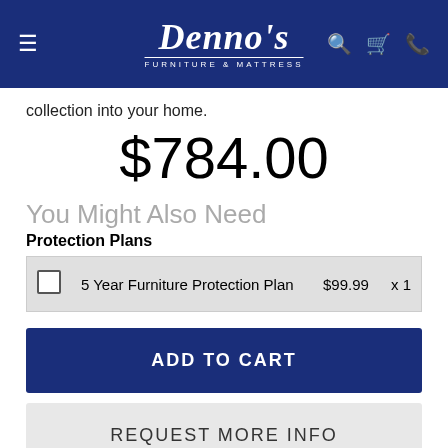[Figure (logo): Denno's Furniture & Mattress logo in white on dark navy blue header bar, with hamburger menu icon on left and search, cart, phone icons on right]
collection into your home.
$784.00
You Might Also Need
Protection Plans
|  | Plan | Price | Qty |
| --- | --- | --- | --- |
| ☐ | 5 Year Furniture Protection Plan | $99.99 | x 1 |
ADD TO CART
REQUEST MORE INFO